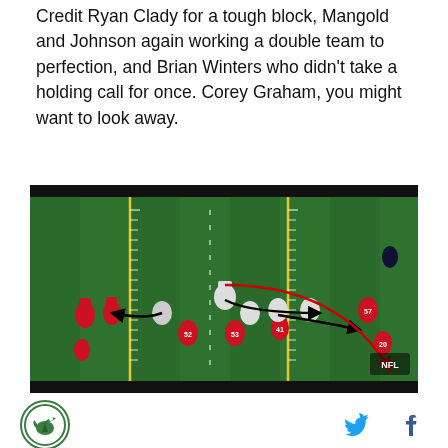Credit Ryan Clady for a tough block, Mangold and Johnson again working a double team to perfection, and Brian Winters who didn't take a holding call for once. Corey Graham, you might want to look away.
[Figure (screenshot): American football play diagram screenshot showing players in red (offense/Bills) and white (defense/Jets) on a green field with yellow yard lines. Red and black arrows indicate play routes. NFL logo visible in bottom right corner.]
[Figure (logo): SB Nation / Bleeding Green Nation bird logo in a circle]
[Figure (other): Twitter bird icon and Facebook f icon for social sharing]